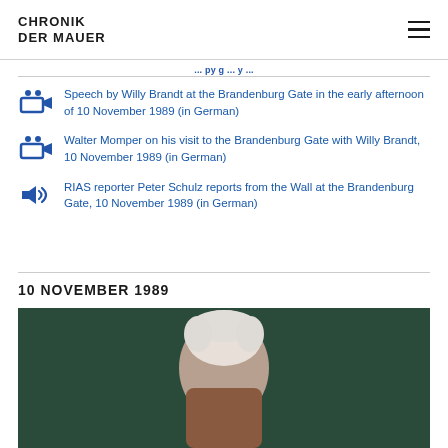CHRONIK DER MAUER
Speech by Willy Brandt at the Brandenburg Gate in the early afternoon of 10 November 1989 (in German)
Walter Momper on his visit to the Brandenburg Gate with Willy Brandt, 10 November 1989 (in German)
RIAS reporter Peter Schulz reports from the Wall at the Brandenburg Gate, 10 November 1989 (in German)
10 NOVEMBER 1989
[Figure (photo): Photo of an elderly man with white hair, partially visible, against a dark teal/green background]